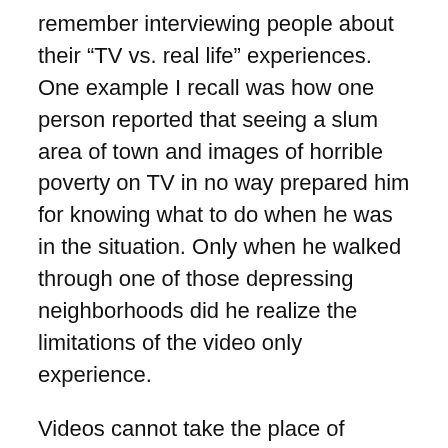remember interviewing people about their “TV vs. real life” experiences.  One example I recall was how one person reported that seeing a slum area of town and images of horrible poverty on TV in no way prepared him for knowing what to do when he was in the situation. Only when he walked through one of those depressing neighborhoods did he realize the limitations of the video only experience.
Videos cannot take the place of walking Paris’s left bank neighborhoods where Hemingway, Fitzgerald, Sartre, Picasso, and countless other writers, artists, and philosophers struggled with themselves and each other to realize their creative potential. One cannot escape absorbing what they were feeling and thinking while drinking  espresso in the same cafe, eating in the same bistro, and having drinks in the same bar where they